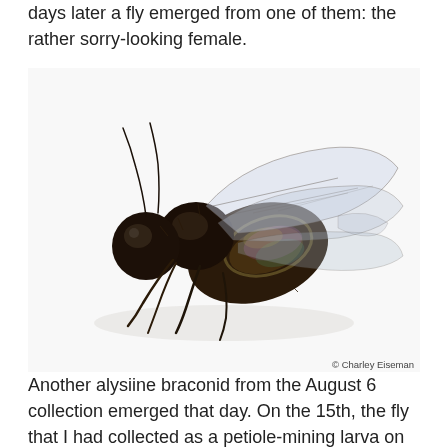days later a fly emerged from one of them: the rather sorry-looking female.
[Figure (photo): Close-up macro photograph of a small black parasitic wasp (alysiine braconid), female, shown from the side on a white background. The insect has a dark black body, iridescent wings folded over the abdomen, and visible hair-like setae. Wings appear translucent with rainbow iridescence on the abdomen. Photo credit: © Charley Eiseman.]
Another alysiine braconid from the August 6 collection emerged that day. On the 15th, the fly that I had collected as a petiole-mining larva on August 4 emerged as an adult – another lousy female.